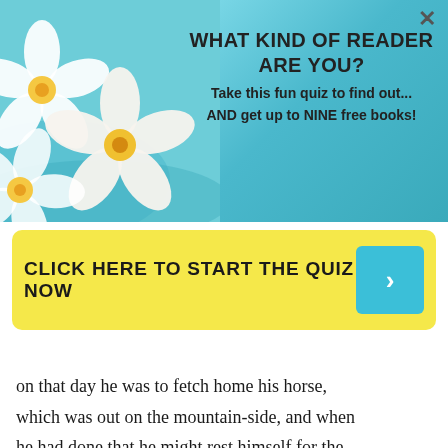[Figure (illustration): Promotional banner with tropical flowers (plumerias) on a blue water/sky background with close button (×) in top right]
WHAT KIND OF READER ARE YOU?
Take this fun quiz to find out... AND get up to NINE free books!
CLICK HERE TO START THE QUIZ NOW
on that day he was to fetch home his horse, which was out on the mountain-side, and when he had done that he might rest himself for the